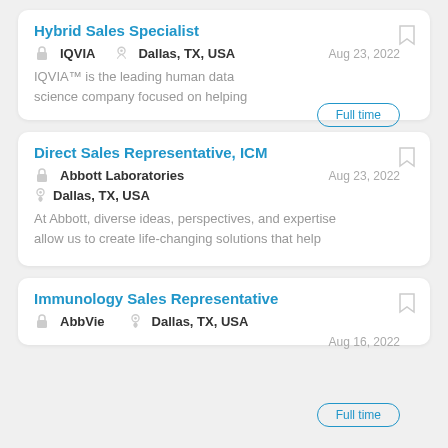Hybrid Sales Specialist
IQVIA   Dallas, TX, USA   Aug 23, 2022   Full time
IQVIA™ is the leading human data science company focused on helping
Direct Sales Representative, ICM
Abbott Laboratories   Dallas, TX, USA   Aug 23, 2022
At Abbott, diverse ideas, perspectives, and expertise allow us to create life-changing solutions that help
Immunology Sales Representative
AbbVie   Dallas, TX, USA   Aug 16, 2022   Full time